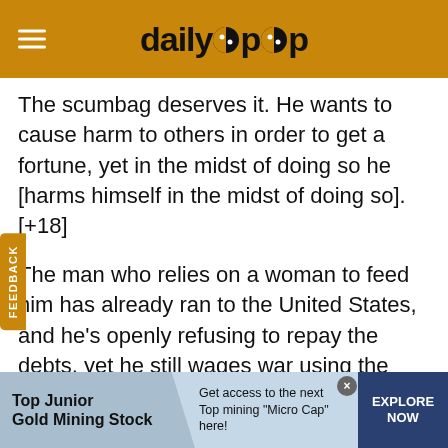dailycpop
The scumbag deserves it. He wants to cause harm to others in order to get a fortune, yet in the midst of doing so he [harms himself in the midst of doing so]. [+18]
The man who relies on a woman to feed him has already ran to the United States, and he's openly refusing to repay the debts, yet he still wages war using the public opinion wars and makes money [by using blackmail
[Figure (infographic): Advertisement banner: Top Junior Gold Mining Stock - Get access to the next Top mining Micro Cap here! - EXPLORE NOW button]